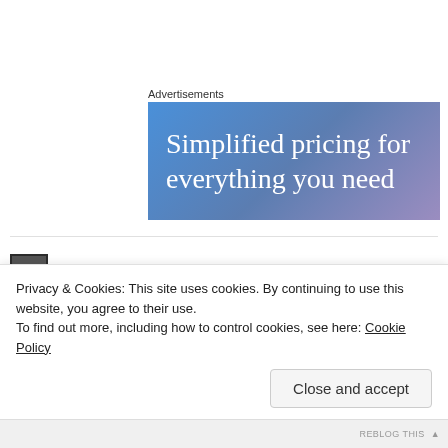Advertisements
[Figure (screenshot): Blue-purple gradient advertisement banner with white serif text reading 'Simplified pricing for everything you need']
★ aspireequestrian
MARCH 2, 2015 AT 2:28 PM
I would also spend some time working with the ponies yourself as if they were fear trained i.e. if no whip nothing
Privacy & Cookies: This site uses cookies. By continuing to use this website, you agree to their use.
To find out more, including how to control cookies, see here: Cookie Policy
Close and accept